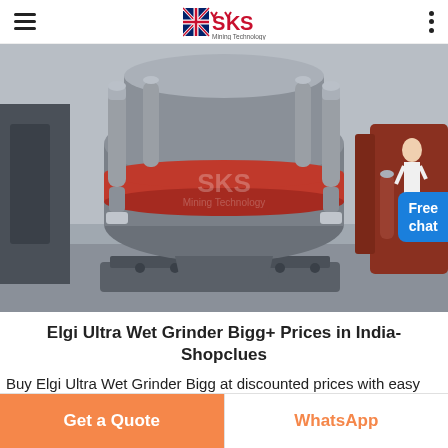SKS Mining Technology
[Figure (photo): Large industrial cone crusher machine in a factory setting, showing grey metal body with red ring band, hydraulic cylinders, and heavy base frame. SKS Mining Technology watermark visible on image. Female person visible on right side.]
Elgi Ultra Wet Grinder Bigg+ Prices in India- Shopclues
Buy Elgi Ultra Wet Grinder Bigg at discounted prices with easy payment options
Get a Quote
WhatsApp